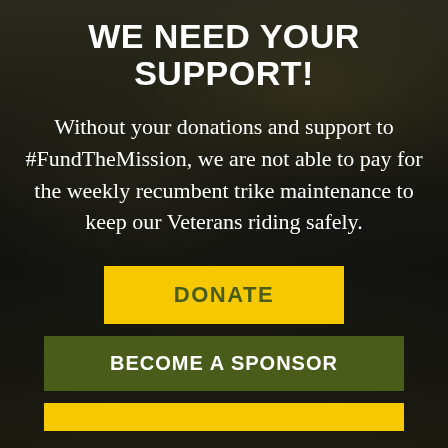WE NEED YOUR SUPPORT!
Without your donations and support to #FundTheMission, we are not able to pay for the weekly recumbent trike maintenance to keep our Veterans riding safely.
DONATE
BECOME A SPONSOR